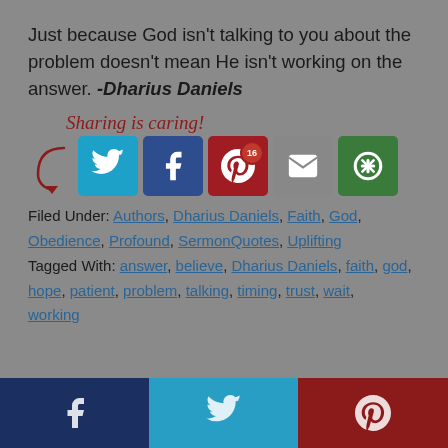Just because God isn't talking to you about the problem doesn't mean He isn't working on the answer. -Dharius Daniels
[Figure (infographic): Sharing is caring! section with social share buttons: Twitter, Facebook, Pinterest (with badge showing 16), Email, and More options]
Filed Under: Authors, Dharius Daniels, Faith, God, Obedience, Profound, SermonQuotes, Uplifting
Tagged With: answer, believe, Dharius Daniels, faith, god, hope, patient, problem, talking, timing, trust, wait, working
[Figure (infographic): Footer bar with three sections: Facebook (dark navy), Twitter (teal/blue), Pinterest (dark red) social media icons]